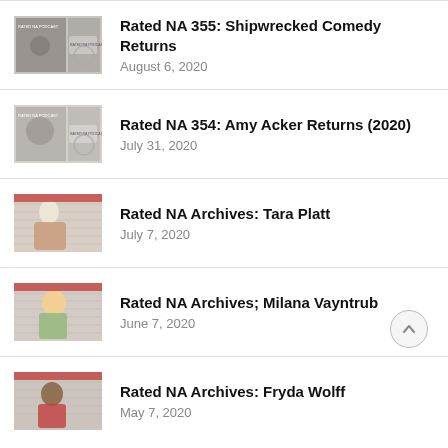Rated NA 355: Shipwrecked Comedy Returns
August 6, 2020
Rated NA 354: Amy Acker Returns (2020)
July 31, 2020
Rated NA Archives: Tara Platt
July 7, 2020
Rated NA Archives; Milana Vayntrub
June 7, 2020
Rated NA Archives: Fryda Wolff
May 7, 2020